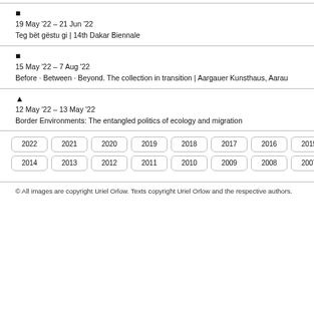■
19 May '22 – 21 Jun '22
Teg bët gëstu gi | 14th Dakar Biennale
■
15 May '22 – 7 Aug '22
Before · Between · Beyond. The collection in transition | Aargauer Kunsthaus, Aarau
▲
12 May '22 – 13 May '22
Border Environments: The entangled politics of ecology and migration
2022 2021 2020 2019 2018 2017 2016 2015 2014 2013 2012 2011 2010 2009 2008 2007
© All images are copyright Uriel Orlow. Texts copyright Uriel Orlow and the respective authors.